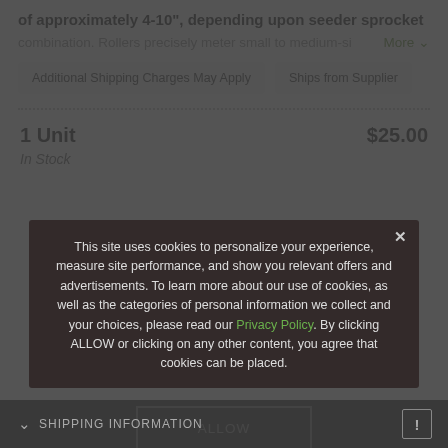of approximately 4-10", depending upon seeder sprocket
combination. Rollers precisely meter small to medium-si  More
Additional Shipping Charges May Apply
Ships from Supplier
1 Unit   $25.00
In Stock
This site uses cookies to personalize your experience, measure site performance, and show you relevant offers and advertisements. To learn more about our use of cookies, as well as the categories of personal information we collect and your choices, please read our Privacy Policy. By clicking ALLOW or clicking on any other content, you agree that cookies can be placed.
ALLOW
SHIPPING INFORMATION